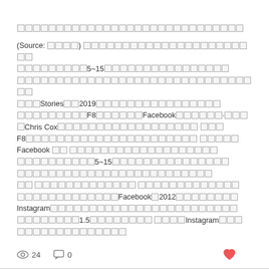□□□□□□□□□□□□□□□□□□□□□□□□□□□□□
(Source: □□□□) □□□□□□□□□□□□□□□□□□□□□□□□□□□□□□□□□□□□□□□□□□□5~15□□□□□□□□□□□□□□□□□□□□□□□□□□□□□□□□□□□□□□□□□□□□□□□□ □□□□□□Stories□□2019□□□□□□□□□□□□□□□□□□□□□□□□□□F8□□□□□□□Facebook□□□□□□·□□□□Chris Cox□□□□□□□□□□□□□□□□□□□□ □□□□F8□□□□□□□□□□□□□□□□□□□□□□□□□ □□□□□□Facebook □□ □□□□□□□□□□□□□□□□□□□□□□□□□□□□□□□□5~15□□□□□□□□□□□□□□□□□□□□□□□□□□□□□□□□□□□□□□□□□□□□□□□□□□ □□ □□□□□□□□□□□□□□□□ □□□□□□□□□□□□□□□□□□□□□□□□□□□□□□□□□Facebook□2012□□□□□□□□Instagram□□□□□□□□□□□□□□□□□□□□□□□□□□□□□□□□□□□□□□1.5□□□□□□□□□ □□□□Instagram□□□□□□□□□□□□□□□□
24 views  0 comments  heart